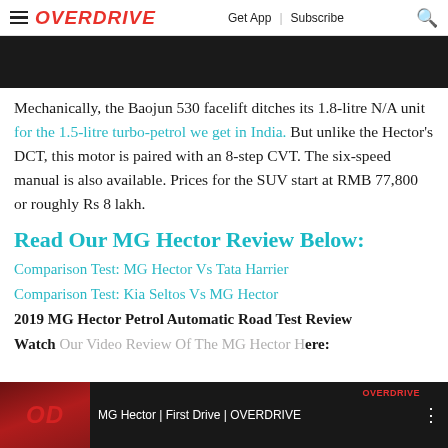☰ OVERDRIVE  Get App | Subscribe 🔍
[Figure (photo): Dark image strip at top of article]
Mechanically, the Baojun 530 facelift ditches its 1.8-litre N/A unit for the 1.5-litre turbo-petrol we get in India. But unlike the Hector's DCT, this motor is paired with an 8-step CVT. The six-speed manual is also available. Prices for the SUV start at RMB 77,800 or roughly Rs 8 lakh.
Read Our MG Hector Review Below:
Comparison Test: MG Hector Vs Tata Harrier
Comparison Test: Kia Seltos Vs MG Hector
2019 MG Hector Petrol Automatic Road Test Review
Watch Our Video Review Of The MG Hector Here:
[Figure (screenshot): Video thumbnail: MG Hector First Drive OVERDRIVE video with OD logo and OVERDRIVE branding]